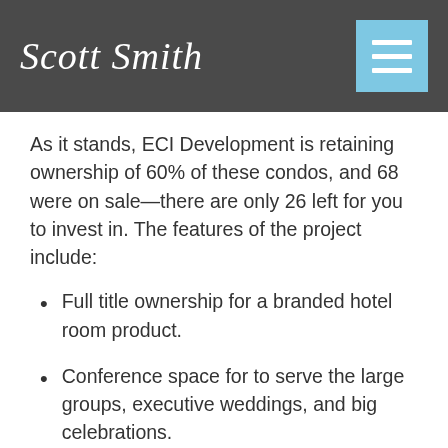Scott Smith
As it stands, ECI Development is retaining ownership of 60% of these condos, and 68 were on sale—there are only 26 left for you to invest in. The features of the project include:
Full title ownership for a branded hotel room product.
Conference space for to serve the large groups, executive weddings, and big celebrations.
An in-house casino
Rooftop lounge that is incredibly...